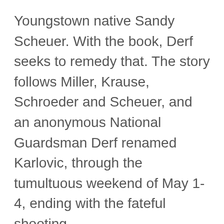Youngstown native Sandy Scheuer. With the book, Derf seeks to remedy that. The story follows Miller, Krause, Schroeder and Scheuer, and an anonymous National Guardsman Derf renamed Karlovic, through the tumultuous weekend of May 1-4, ending with the fateful shooting.
But there is also a hidden story in Kent State: a Derf origin story.
In the opening pages, Derf is 10 years old...